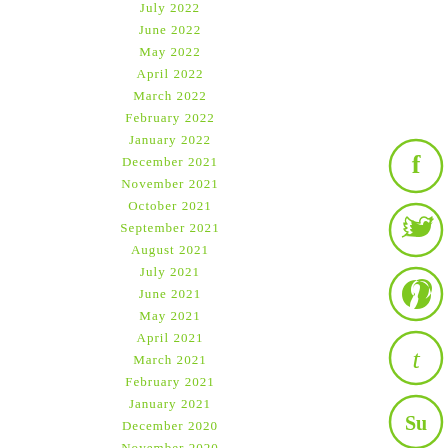July 2022
June 2022
May 2022
April 2022
March 2022
February 2022
January 2022
December 2021
November 2021
October 2021
September 2021
August 2021
July 2021
June 2021
May 2021
April 2021
March 2021
February 2021
January 2021
December 2020
November 2020
October 2020
September 2020
[Figure (illustration): Social media icons: Facebook, Twitter, Pinterest, Tumblr, StumbleUpon — each in a green circle outline]